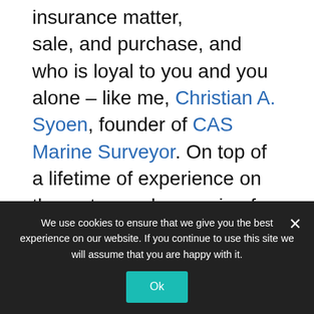insurance matter, sale, and purchase, and who is loyal to you and you alone – like me, Christian A. Syoen, founder of CAS Marine Surveyor. On top of a lifetime of experience on the water, and a passion for vessel restoration, I am a formally educated marine surveyor with numerous noteworthy memberships and accreditations with several of the most prestigious marine institutions in the country. That means, whether you a need a humble marine surveyor to take care of a last minute Appraisal Survey, or you need someone fiercely reliable to handle a few Condition and Valuation or Verification of Stated Condition Surveys, I've got your back. Besides, living
We use cookies to ensure that we give you the best experience on our website. If you continue to use this site we will assume that you are happy with it.